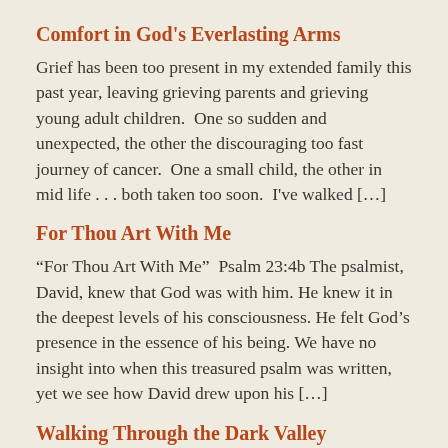Comfort in God’s Everlasting Arms
Grief has been too present in my extended family this past year, leaving grieving parents and grieving young adult children.  One so sudden and unexpected, the other the discouraging too fast journey of cancer.  One a small child, the other in mid life . . . both taken too soon.  I’ve walked […]
For Thou Art With Me
“For Thou Art With Me”  Psalm 23:4b The psalmist, David, knew that God was with him. He knew it in the deepest levels of his consciousness. He felt God’s presence in the essence of his being. We have no insight into when this treasured psalm was written, yet we see how David drew upon his […]
Walking Through the Dark Valley
“Yea, though I walk through the valley of the